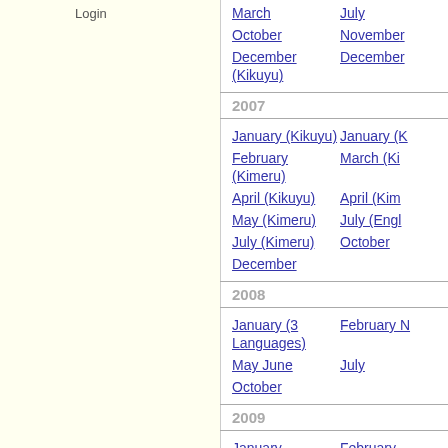Login
March | July
October | November
December (Kikuyu) | December
2007
January (Kikuyu) | January (K
February (Kimeru) | March (Ki
April (Kikuyu) | April (Kim
May (Kimeru) | July (Engl
July (Kimeru) | October
December
2008
January (3 Languages) | February N
May June | July
October
2009
January | February-
February-